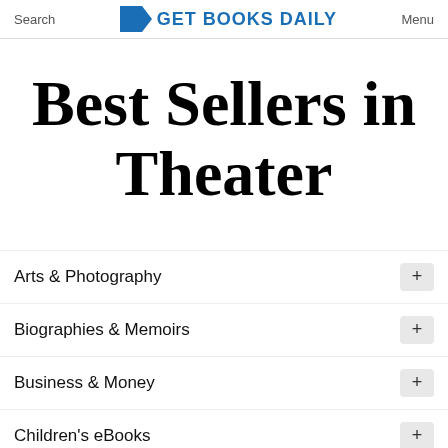Search | GET BOOKS DAILY | Menu
Best Sellers in Theater
Arts & Photography
Biographies & Memoirs
Business & Money
Children's eBooks
Comics, Manga & Graphic Novels